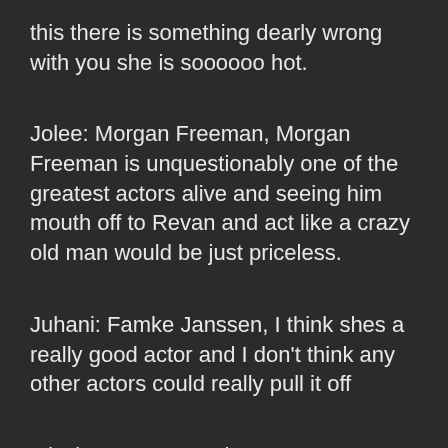this there is something dearly wrong with you she is soooooo hot.
Jolee: Morgan Freeman, Morgan Freeman is unquestionably one of the greatest actors alive and seeing him mouth off to Revan and act like a crazy old man would be just priceless.
Juhani: Famke Janssen, I think shes a really good actor and I don't think any other actors could really pull it off
Mission: Anna Paquin, one reason I'm a proud Canadian